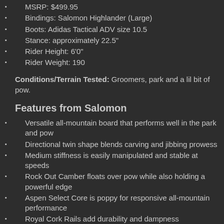MSRP: $499.95
Bindings: Salomon Highlander (Large)
Boots: Adidas Tactical ADV size 10.5
Stance: approximately 22.5"
Rider Height: 6'0"
Rider Weight: 190
Conditions/Terrain Tested: Groomers, park and a lil bit of pow.
Features from Salomon
Versatile all-mountain board that performs well in the park and pow
Directional twin shape blends carving and jibbing prowess
Medium stiffness is easily manipulated and stable at speeds
Rock Out Camber floats over pow while also holding a powerful edge
Aspen Select Core is poppy for responsive all-mountain performance
Royal Cork Rails add durability and dampness